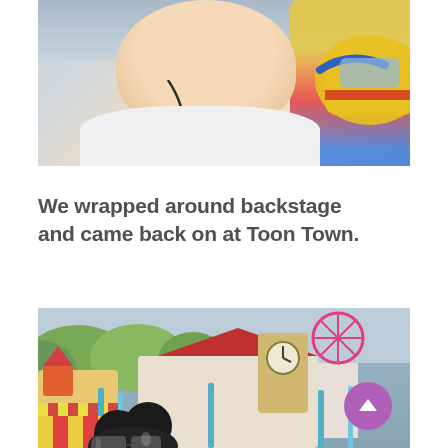[Figure (photo): A man smiling, wearing a white t-shirt with earbuds, taking a selfie while seated in a colorful theme park ride vehicle (yellow, red, blue) at what appears to be Disneyland.]
We wrapped around backstage and came back on at Toon Town.
[Figure (photo): View of Toon Town area at Disneyland, with colorful cartoon-style buildings, a clock tower, blue decorative poles, green rounded hills, and Mickey Mouse ear hat silhouette in the foreground. A purple scroll-to-top button is visible in the bottom-right corner.]